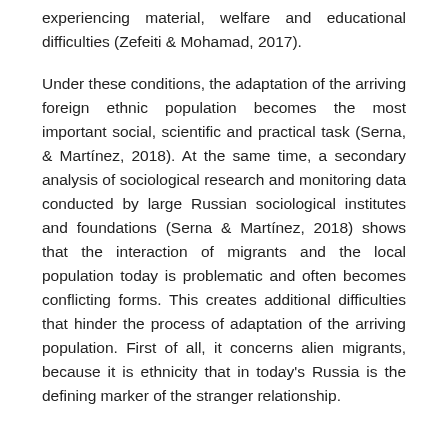experiencing material, welfare and educational difficulties (Zefeiti & Mohamad, 2017).
Under these conditions, the adaptation of the arriving foreign ethnic population becomes the most important social, scientific and practical task (Serna, & Martínez, 2018). At the same time, a secondary analysis of sociological research and monitoring data conducted by large Russian sociological institutes and foundations (Serna & Martínez, 2018) shows that the interaction of migrants and the local population today is problematic and often becomes conflicting forms. This creates additional difficulties that hinder the process of adaptation of the arriving population. First of all, it concerns alien migrants, because it is ethnicity that in today's Russia is the defining marker of the stranger relationship.